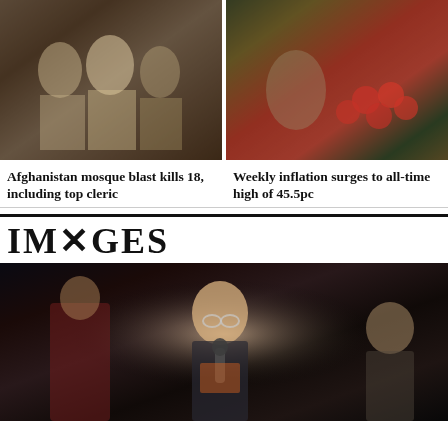[Figure (photo): Men greeting or interacting outdoors near a mosque or building, Afghanistan scene]
[Figure (photo): Market vendor selling tomatoes and vegetables, inflation context]
Afghanistan mosque blast kills 18, including top cleric
Weekly inflation surges to all-time high of 45.5pc
IMAGES
[Figure (photo): Singer performing on stage with microphone, smiling, band in background at a concert]